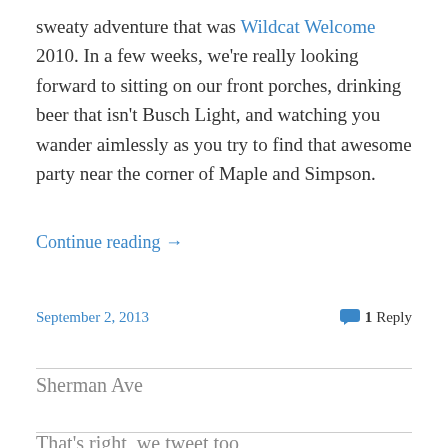sweaty adventure that was Wildcat Welcome 2010. In a few weeks, we're really looking forward to sitting on our front porches, drinking beer that isn't Busch Light, and watching you wander aimlessly as you try to find that awesome party near the corner of Maple and Simpson.
Continue reading →
September 2, 2013
1 Reply
Sherman Ave
That's right, we tweet too